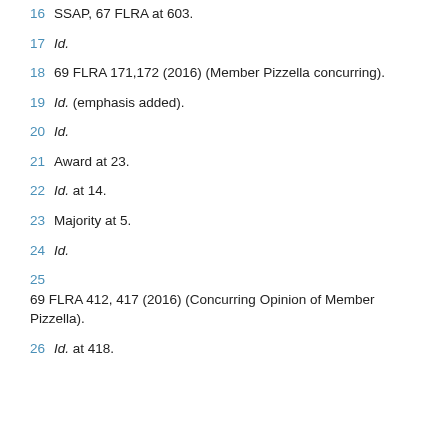16 SSAP, 67 FLRA at 603.
17 Id.
18 69 FLRA 171,172 (2016) (Member Pizzella concurring).
19 Id. (emphasis added).
20 Id.
21 Award at 23.
22 Id. at 14.
23 Majority at 5.
24 Id.
25 69 FLRA 412, 417 (2016) (Concurring Opinion of Member Pizzella).
26 Id. at 418.